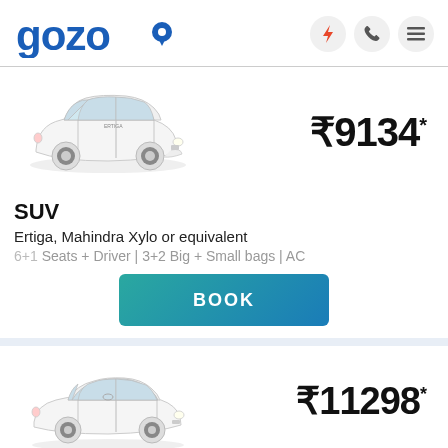[Figure (logo): Gozo logo with blue text and orange map pin icon]
[Figure (photo): White Maruti Ertiga SUV car image, front-side view]
₹9134*
SUV
Ertiga, Mahindra Xylo or equivalent
6+1 Seats + Driver | 3+2 Big + Small bags | AC
BOOK
[Figure (photo): White Toyota Etios sedan car image, front-side view]
₹11298*